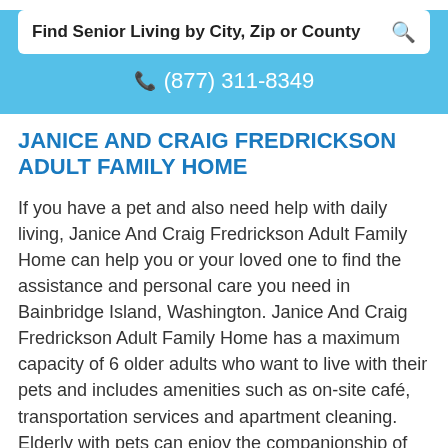Find Senior Living by City, Zip or County
(877) 311-8349
JANICE AND CRAIG FREDRICKSON ADULT FAMILY HOME
If you have a pet and also need help with daily living, Janice And Craig Fredrickson Adult Family Home can help you or your loved one to find the assistance and personal care you need in Bainbridge Island, Washington. Janice And Craig Fredrickson Adult Family Home has a maximum capacity of 6 older adults who want to live with their pets and includes amenities such as on-site café, transportation services and apartment cleaning. Elderly with pets can enjoy the companionship of their pet at Janice And Craig Fredrickson Adult Family Home.